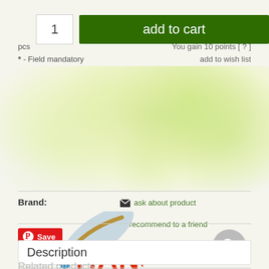1
add to cart
pcs
* - Field mandatory
You gain 10 points [ ? ]
add to wish list
[Figure (logo): HANS brand logo with a leaf and water drop]
Brand:
✉ ask about product
♥ recommend to a friend
[Figure (logo): Pinterest Save button with P icon]
[Figure (other): Search magnifying glass icon in grey circle]
Description
Related products